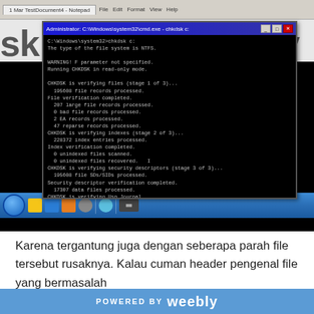[Figure (screenshot): Windows 7 desktop screenshot showing a Command Prompt (Administrator) window running CHKDSK on drive C:. The command output shows NTFS file system check stages including file verification, index verification, and security descriptor verification. Behind the CMD window, partially visible text reads 'sk...heck di...driv'. Windows 7 taskbar is visible at the bottom with Start orb and various application icons.]
Karena tergantung juga dengan seberapa parah file tersebut rusaknya. Kalau cuman header pengenal file yang bermasalah
POWERED BY weebly